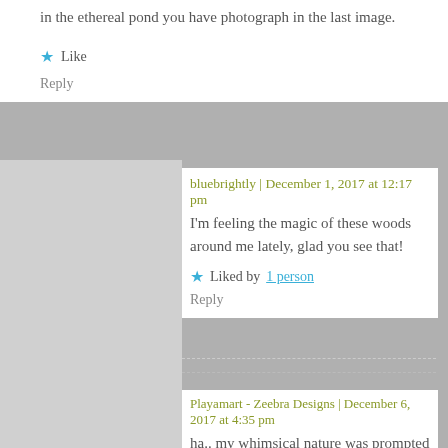in the ethereal pond you have photograph in the last image.
Like
Reply
bluebrightly | December 1, 2017 at 12:17 pm
I'm feeling the magic of these woods around me lately, glad you see that!
Liked by 1 person
Reply
Playamart - Zeebra Designs | December 6, 2017 at 4:35 pm
ha.. my whimsical nature was prompted into an